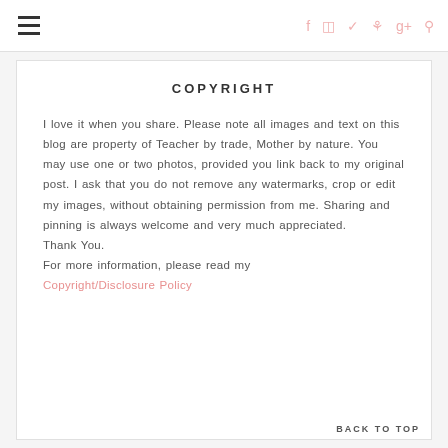≡  f  Instagram  Twitter  Pinterest  g+  Search
COPYRIGHT
I love it when you share. Please note all images and text on this blog are property of Teacher by trade, Mother by nature. You may use one or two photos, provided you link back to my original post. I ask that you do not remove any watermarks, crop or edit my images, without obtaining permission from me. Sharing and pinning is always welcome and very much appreciated.
Thank You.
For more information, please read my
Copyright/Disclosure Policy
BACK TO TOP